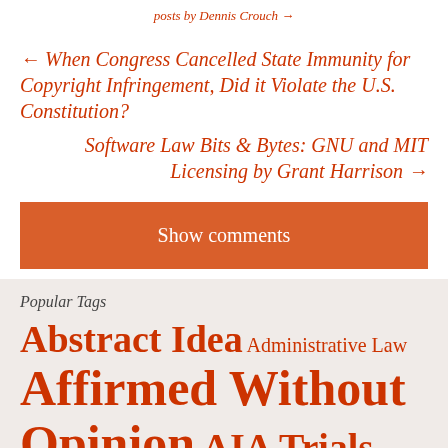posts by Dennis Crouch →
← When Congress Cancelled State Immunity for Copyright Infringement, Did it Violate the U.S. Constitution?
Software Law Bits & Bytes: GNU and MIT Licensing by Grant Harrison →
Show comments
Popular Tags
Abstract Idea Administrative Law Affirmed Without Opinion AIA Trials